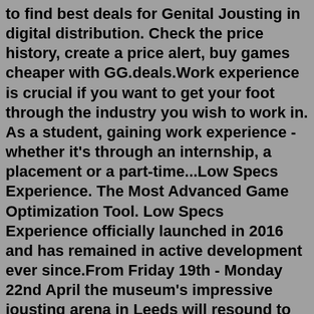to find best deals for Genital Jousting in digital distribution. Check the price history, create a price alert, buy games cheaper with GG.deals.Work experience is crucial if you want to get your foot through the industry you wish to work in. As a student, gaining work experience - whether it's through an internship, a placement or a part-time...Low Specs Experience. The Most Advanced Game Optimization Tool. Low Specs Experience officially launched in 2016 and has remained in active development ever since.From Friday 19th - Monday 22nd April the museum's impressive jousting arena in Leeds will resound to the cheers of crowds, as eight internationally-renowned knights battle it out in an authentic medieval tournament, right in the heart of the city. ... visitors can also experience a live-action Wars of the Roses weekend (6th & 7th April). ...Genital Jousting tells the story of "John", a penis who needs to find a date for his high school Genital Jousting is an online and local multiplayer party game about flaccid penises and wiggly causes for...